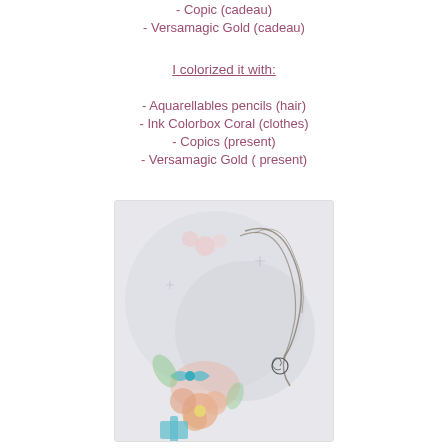- Copic (cadeau)
- Versamagic Gold (cadeau)
I colorized it with:
- Aquarellables pencils (hair)
- Ink Colorbox Coral (clothes)
- Copics (present)
- Versamagic Gold ( present)
[Figure (illustration): A hand-drawn illustration of a fairy or girl figure with flowing hair, holding or near flowers. Colored with peach/coral flowers, teal blue ribbon or bow, and soft watercolor-style background.]